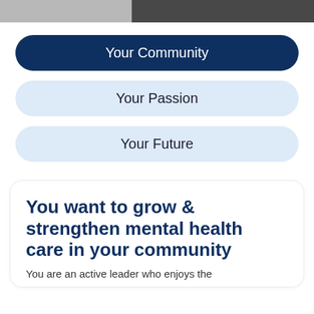[Figure (photo): Partial image strip at the top showing two photo segments side by side — a lighter gray image on the left and a darker image on the right]
Your Community
Your Passion
Your Future
You want to grow & strengthen mental health care in your community
You are an active leader who enjoys the